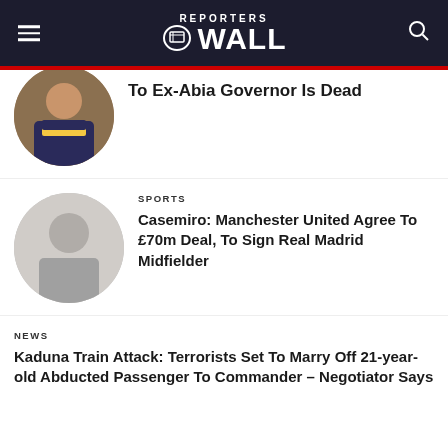REPORTERS WALL
To Ex-Abia Governor Is Dead
SPORTS
Casemiro: Manchester United Agree To £70m Deal, To Sign Real Madrid Midfielder
NEWS
Kaduna Train Attack: Terrorists Set To Marry Off 21-year-old Abducted Passenger To Commander – Negotiator Says